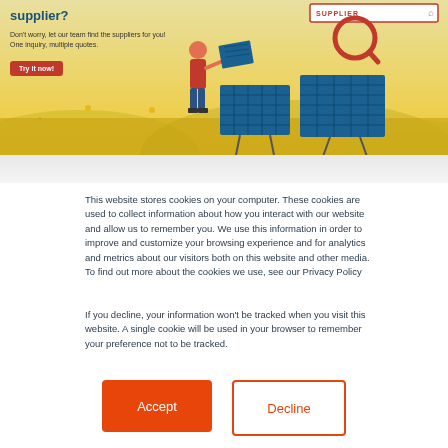[Figure (illustration): Banner showing solar panels with a person holding a solar panel, a search bar labeled SUPPLIER, and a Try it now button on a yellow/gold gradient background with mountains]
This website stores cookies on your computer. These cookies are used to collect information about how you interact with our website and allow us to remember you. We use this information in order to improve and customize your browsing experience and for analytics and metrics about our visitors both on this website and other media. To find out more about the cookies we use, see our Privacy Policy
If you decline, your information won't be tracked when you visit this website. A single cookie will be used in your browser to remember your preference not to be tracked.
Accept
Decline